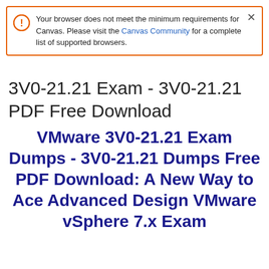Your browser does not meet the minimum requirements for Canvas. Please visit the Canvas Community for a complete list of supported browsers.
3V0-21.21 Exam - 3V0-21.21 PDF Free Download
VMware 3V0-21.21 Exam Dumps - 3V0-21.21 Dumps Free PDF Download: A New Way to Ace Advanced Design VMware vSphere 7.x Exam